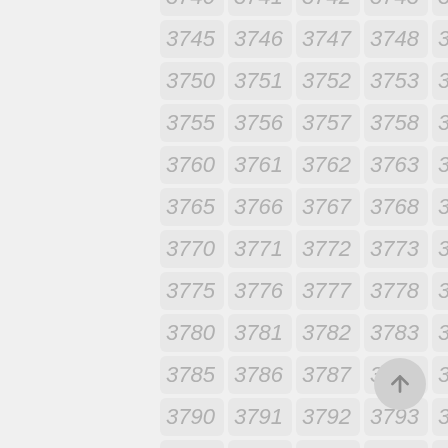[Figure (other): Grid of numbered cells from 3740 to 3794 arranged in 5 columns and multiple rows, each cell showing a number in italic gray text on a light gray rounded rectangle background. A circular back-to-top button appears at bottom right.]